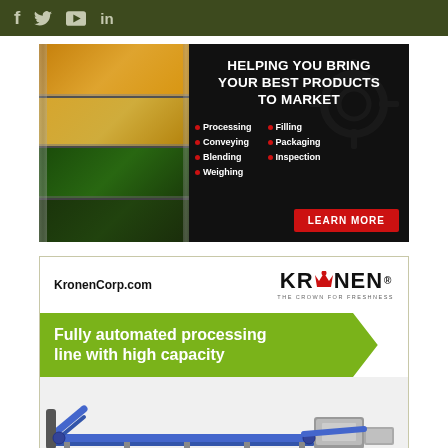f  🐦  ▶  in
[Figure (photo): Advertisement banner: 'Helping you bring your best products to market' with bullet points: Processing, Conveying, Blending, Weighing, Filling, Packaging, Inspection. LEARN MORE button. Left side shows food processing image with vegetables.]
[Figure (illustration): Kronen advertisement: KronenCorp.com, KRONEN logo with crown, THE CROWN FOR FRESHNESS tagline, green banner 'Fully automated processing line with high capacity', machine/conveyor belt image below.]